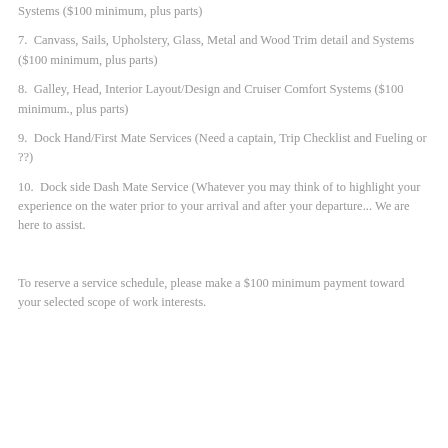Systems ($100 minimum, plus parts)
7.  Canvass, Sails, Upholstery, Glass, Metal and Wood Trim detail and Systems ($100 minimum, plus parts)
8.  Galley, Head, Interior Layout/Design and Cruiser Comfort Systems ($100 minimum., plus parts)
9.  Dock Hand/First Mate Services (Need a captain, Trip Checklist and Fueling or ??)
10.  Dock side Dash Mate Service (Whatever you may think of to highlight your experience on the water prior to your arrival and after your departure... We are here to assist.
To reserve a service schedule, please make a $100 minimum payment toward your selected scope of work interests.